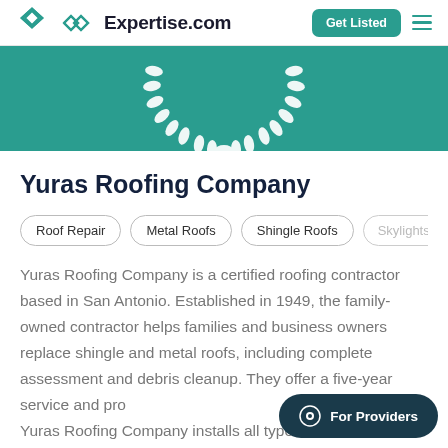Expertise.com | Get Listed
[Figure (illustration): Teal hero banner with white laurel wreath decoration at bottom center]
Yuras Roofing Company
Roof Repair
Metal Roofs
Shingle Roofs
Skylights
Yuras Roofing Company is a certified roofing contractor based in San Antonio. Established in 1949, the family-owned contractor helps families and business owners replace shingle and metal roofs, including complete assessment and debris cleanup. They offer a five-year service and pro... Yuras Roofing Company installs all types of